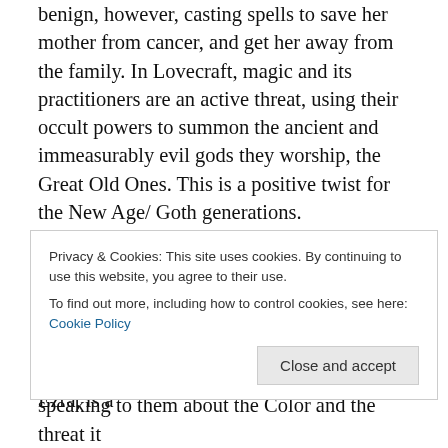benign, however, casting spells to save her mother from cancer, and get her away from the family. In Lovecraft, magic and its practitioners are an active threat, using their occult powers to summon the ancient and immeasurably evil gods they worship, the Great Old Ones. This is a positive twist for the New Age/ Goth generations.
There's a similar, positive view of the local squatter. In Lovecraft, the squatters are barely human White trash heading slowly back down the evolutionary ladder through poverty and inbreeding. The film's squatter, Ezra, is a tech-savvy former electrician using solar power to live off...
Privacy & Cookies: This site uses cookies. By continuing to use this website, you agree to their use. To find out more, including how to control cookies, see here: Cookie Policy
speaking to them about the Color and the threat it